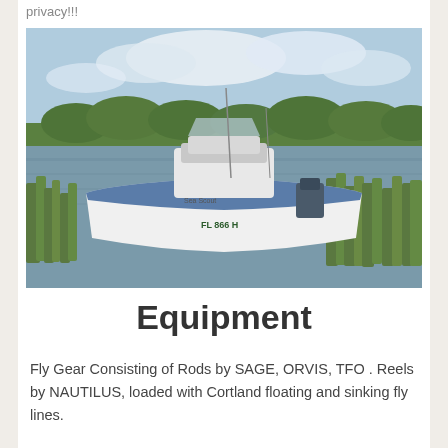privacy!!!
[Figure (photo): A white center-console fishing boat moored among marsh grasses in shallow water, with trees and cloudy sky in the background.]
Equipment
Fly Gear Consisting of Rods by SAGE, ORVIS, TFO . Reels by NAUTILUS, loaded with Cortland floating and sinking fly lines.